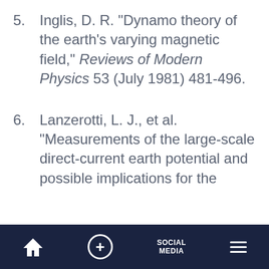5. Inglis, D. R. "Dynamo theory of the earth's varying magnetic field," Reviews of Modern Physics 53 (July 1981) 481-496.
6. Lanzerotti, L. J., et al. "Measurements of the large-scale direct-current earth potential and possible implications for the
🏠  +  SOCIAL MEDIA  ☰